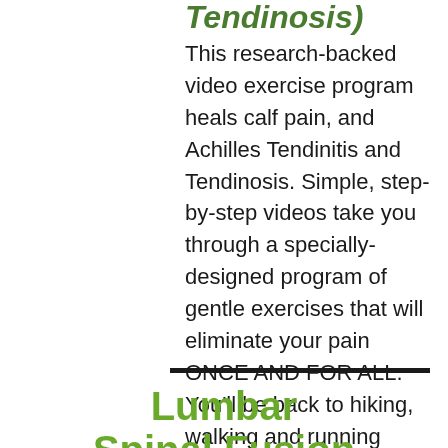Tendinosis)
This research-backed video exercise program heals calf pain, and Achilles Tendinitis and Tendinosis. Simple, step-by-step videos take you through a specially-designed program of gentle exercises that will eliminate your pain ONCE AND FOR ALL. You’ll be back to hiking, walking and running before you know it.
Lumbar Spinal Fusion